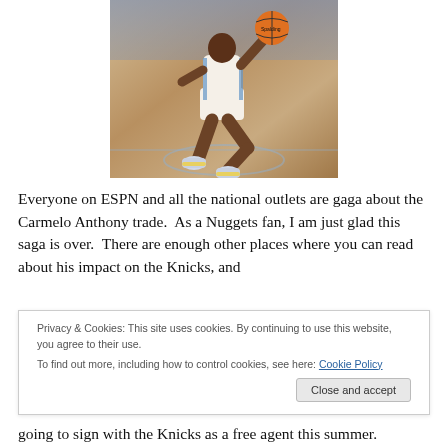[Figure (photo): Basketball player (in white Denver Nuggets uniform) dribbling a Spalding basketball mid-air on a court]
Everyone on ESPN and all the national outlets are gaga about the Carmelo Anthony trade.  As a Nuggets fan, I am just glad this saga is over.  There are enough other places where you can read about his impact on the Knicks, and
Privacy & Cookies: This site uses cookies. By continuing to use this website, you agree to their use.
To find out more, including how to control cookies, see here: Cookie Policy
going to sign with the Knicks as a free agent this summer.